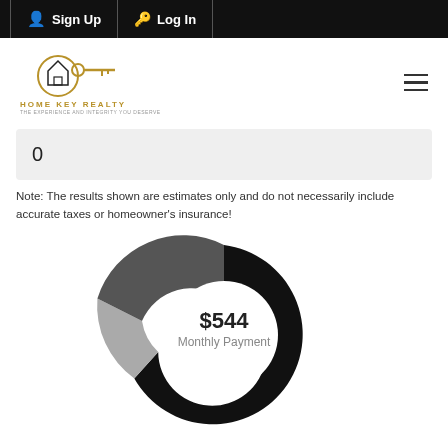Sign Up  Log In
[Figure (logo): Home Key Realty logo with golden key icon and company name]
0
Note: The results shown are estimates only and do not necessarily include accurate taxes or homeowner's insurance!
[Figure (donut-chart): Donut chart showing monthly payment breakdown with $544 Monthly Payment in center]